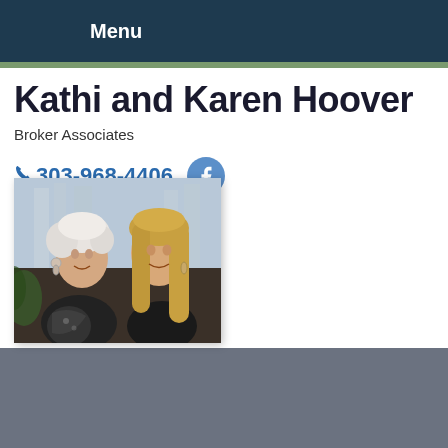Menu
Kathi and Karen Hoover
Broker Associates
303-968-4406
[Figure (photo): Photo of two women smiling, posed back-to-back. One has short white/gray hair, the other has long blonde hair. Both wearing dark clothing.]